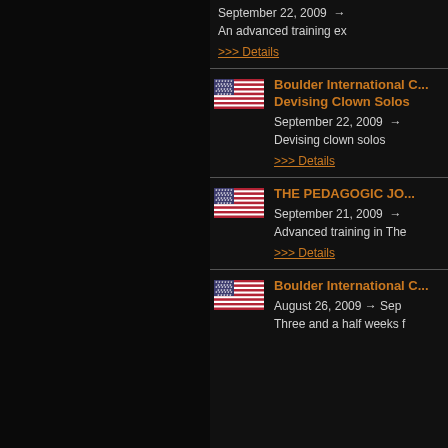September 22, 2009 →
An advanced training ex
>>> Details
Boulder International C... Devising Clown Solos
September 22, 2009 →
Devising clown solos
>>> Details
THE PEDAGOGIC JO...
September 21, 2009 →
Advanced training in The
>>> Details
Boulder International C...
August 26, 2009 → Sep
Three and a half weeks f